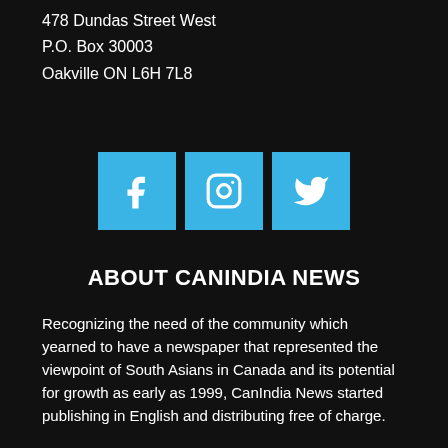478 Dundas Street West
P.O. Box 30003
Oakville ON L6H 7L8
[Figure (infographic): Three social media icon buttons: Facebook (f), Instagram (camera icon), and Twitter (bird icon), all on a light blue background]
ABOUT CANINDIA NEWS
Recognizing the need of the community which yearned to have a newspaper that represented the viewpoint of South Asians in Canada and its potential for growth as early as 1999, CanIndia News started publishing in English and distributing free of charge.
QUICK CONTACT
NAME*
COMPANY NAME